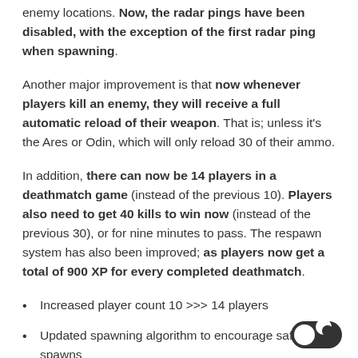enemy locations. Now, the radar pings have been disabled, with the exception of the first radar ping when spawning.
Another major improvement is that now whenever players kill an enemy, they will receive a full automatic reload of their weapon. That is; unless it's the Ares or Odin, which will only reload 30 of their ammo.
In addition, there can now be 14 players in a deathmatch game (instead of the previous 10). Players also need to get 40 kills to win now (instead of the previous 30), or for nine minutes to pass. The respawn system has also been improved; as players now get a total of 900 XP for every completed deathmatch.
Increased player count 10 >>> 14 players
Updated spawning algorithm to encourage safer spawns